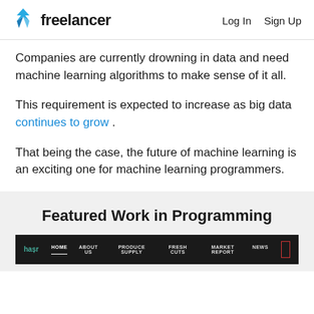Freelancer | Log In  Sign Up
Companies are currently drowning in data and need machine learning algorithms to make sense of it all.
This requirement is expected to increase as big data continues to grow .
That being the case, the future of machine learning is an exciting one for machine learning programmers.
Featured Work in Programming
[Figure (screenshot): Screenshot of a dark-themed website navigation bar with links: HOME, ABOUT US, PRODUCE SUPPLY, FRESH CUTS, MARKET REPORT, NEWS]